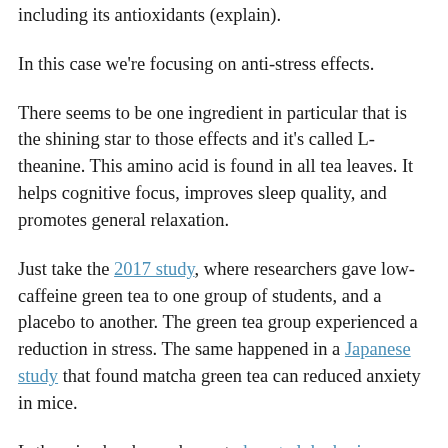including its antioxidants (explain).
In this case we're focusing on anti-stress effects.
There seems to be one ingredient in particular that is the shining star to those effects and it's called L-theanine. This amino acid is found in all tea leaves. It helps cognitive focus, improves sleep quality, and promotes general relaxation.
Just take the 2017 study, where researchers gave low-caffeine green tea to one group of students, and a placebo to another. The green tea group experienced a reduction in stress. The same happened in a Japanese study that found matcha green tea can reduced anxiety in mice.
L-theanine has been shown to boost alpha brain